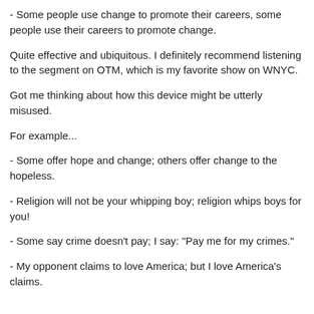- Some people use change to promote their careers, some people use their careers to promote change.
Quite effective and ubiquitous. I definitely recommend listening to the segment on OTM, which is my favorite show on WNYC.
Got me thinking about how this device might be utterly misused.
For example...
- Some offer hope and change; others offer change to the hopeless.
- Religion will not be your whipping boy; religion whips boys for you!
- Some say crime doesn't pay; I say: "Pay me for my crimes."
- My opponent claims to love America; but I love America's claims.